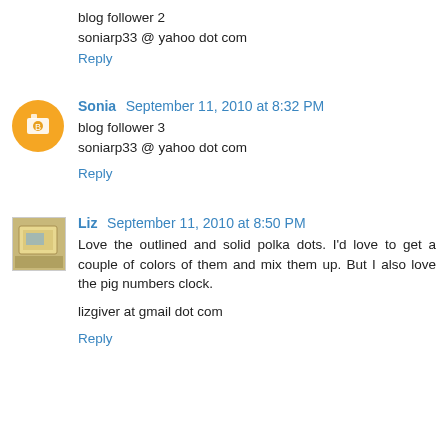blog follower 2
soniarp33 @ yahoo dot com
Reply
Sonia September 11, 2010 at 8:32 PM
blog follower 3
soniarp33 @ yahoo dot com
Reply
Liz September 11, 2010 at 8:50 PM
Love the outlined and solid polka dots. I'd love to get a couple of colors of them and mix them up. But I also love the pig numbers clock.

lizgiver at gmail dot com
Reply